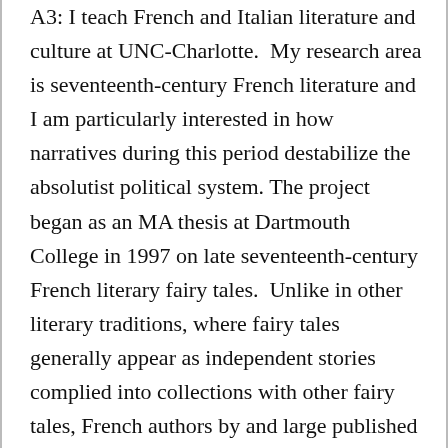A3: I teach French and Italian literature and culture at UNC-Charlotte.  My research area is seventeenth-century French literature and I am particularly interested in how narratives during this period destabilize the absolutist political system. The project began as an MA thesis at Dartmouth College in 1997 on late seventeenth-century French literary fairy tales.  Unlike in other literary traditions, where fairy tales generally appear as independent stories complied into collections with other fairy tales, French authors by and large published fairy tales in conjunction with other literary genres.  The first fairy tale of the French tradition, for example, was published as an interpolated story in the second volume of a romance novel that